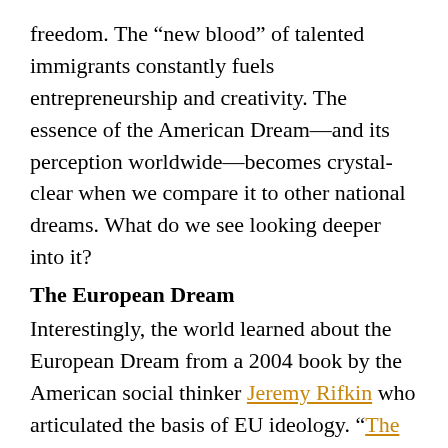freedom. The “new blood” of talented immigrants constantly fuels entrepreneurship and creativity. The essence of the American Dream—and its perception worldwide—becomes crystal-clear when we compare it to other national dreams. What do we see looking deeper into it?
The European Dream
Interestingly, the world learned about the European Dream from a 2004 book by the American social thinker Jeremy Rifkin who articulated the basis of EU ideology. “The European Dream” offers a systematic comparison of US-American vs. European values, lifestyles, economy, wealth accumulation/distribution, social mobility, dealing with diversity, healthcare, welfare, and what not—to prove that the European vision is “quietly eclipsing the American Dream.” One big problem of this is that it is not the American